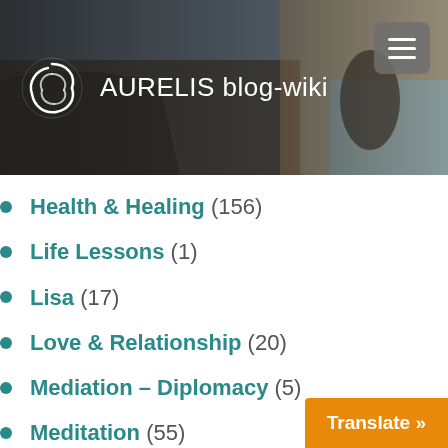[Figure (screenshot): AURELIS blog-wiki website header with logo, site title, and hamburger menu button on a dark photo background of a person near the sea]
Health & Healing (156)
Life Lessons (1)
Lisa (17)
Love & Relationship (20)
Mediation – Diplomacy (5)
Meditation (55)
Mind-Body Column (50)
Minding Corona (61)